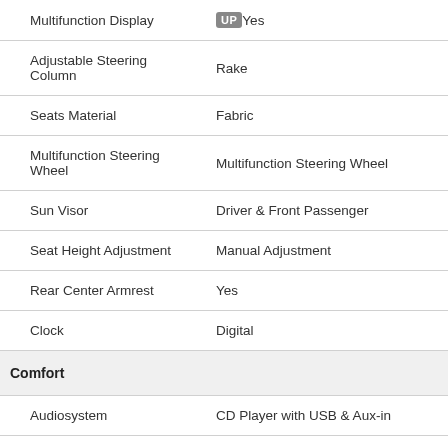| Feature | Value |
| --- | --- |
| Multifunction Display | UP Yes |
| Adjustable Steering Column | Rake |
| Seats Material | Fabric |
| Multifunction Steering Wheel | Multifunction Steering Wheel |
| Sun Visor | Driver & Front Passenger |
| Seat Height Adjustment | Manual Adjustment |
| Rear Center Armrest | Yes |
| Clock | Digital |
| Comfort |  |
| Audiosystem | CD Player with USB & Aux-in |
| Ventilation System | Manual Air conditioning with |